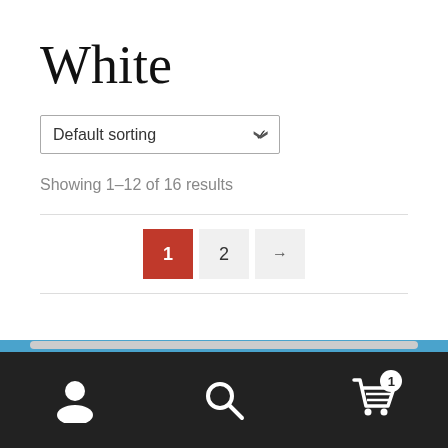White
Default sorting
Showing 1–12 of 16 results
1  2  →
ℹ This is a demo store for testing purposes — no orders shall be fulfilled.
Dismiss
[Figure (screenshot): Bottom navigation bar with user icon, search icon, and cart icon with badge showing 1]